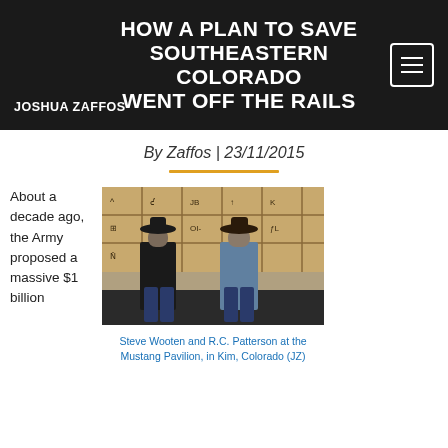HOW A PLAN TO SAVE SOUTHEASTERN COLORADO WENT OFF THE RAILS
JOSHUA ZAFFOS
By Zaffos | 23/11/2015
About a decade ago, the Army proposed a massive $1 billion
[Figure (photo): Two men in cowboy hats standing in front of a wall of large wooden crates stamped with cattle brand symbols, at the Mustang Pavilion in Kim, Colorado]
Steve Wooten and R.C. Patterson at the Mustang Pavilion, in Kim, Colorado (JZ)